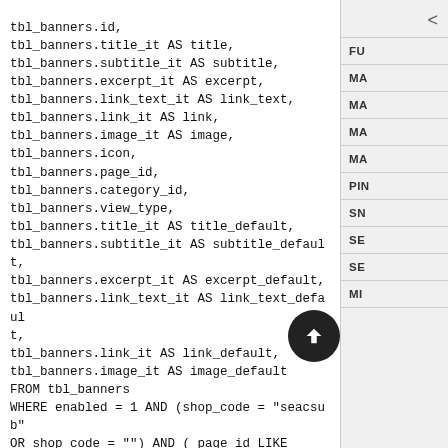tbl_banners.id,
tbl_banners.title_it AS title,
tbl_banners.subtitle_it AS subtitle,
tbl_banners.excerpt_it AS excerpt,
tbl_banners.link_text_it AS link_text,
tbl_banners.link_it AS link,
tbl_banners.image_it AS image,
tbl_banners.icon,
tbl_banners.page_id,
tbl_banners.category_id,
tbl_banners.view_type,
tbl_banners.title_it AS title_default,
tbl_banners.subtitle_it AS subtitle_default,
tbl_banners.excerpt_it AS excerpt_default,
tbl_banners.link_text_it AS link_text_default,
tbl_banners.link_it AS link_default,
tbl_banners.image_it AS image_default
FROM tbl_banners
WHERE enabled = 1 AND (shop_code = "seacsub" OR shop_code = "") AND ( page_id LIKE '%"5"%' AND
(category_id LIKE '%"55"%' OR category_id LIKE '%"0"%') AND